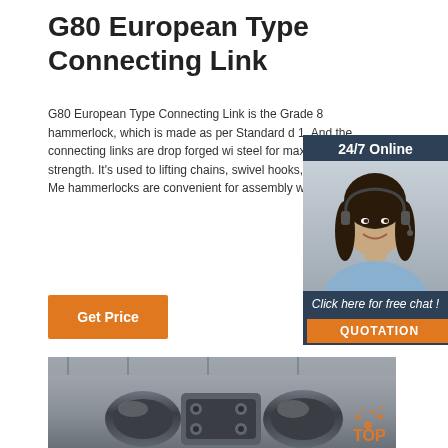G80 European Type Connecting Link
G80 European Type Connecting Link is the Grade 8 hammerlock, which is made as per Standard d... 1. And the connecting links are drop forged with steel for maximum tensile strength. It's used to lifting chains, swivel hooks, or master links. Me hammerlocks are convenient for assembly with only.
[Figure (other): Orange 'Get Price' button]
[Figure (other): Sidebar widget with '24/7 Online' header, photo of woman with headset smiling, and 'Click here for free chat!' text with orange QUOTATION button]
[Figure (photo): Close-up industrial photo of a large metal connecting link/hammerlock hardware in a warehouse or factory setting]
[Figure (logo): Orange 'TOP' badge/logo in bottom right of the photo]